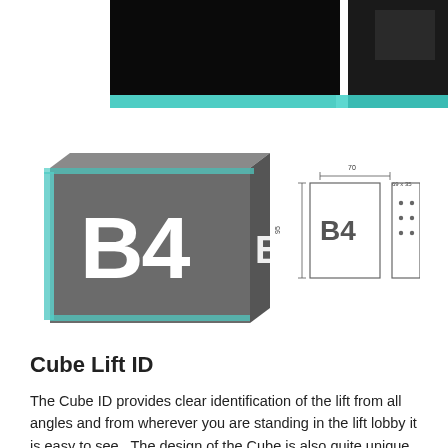[Figure (photo): Photo of a dark/black glass lift interior or panel with teal/green illuminated edge strip at the bottom, showing two sections side by side.]
[Figure (engineering-diagram): Product diagram showing the Cube Lift ID sign: a 3D rendered cube sign displaying 'B4' on two faces (left side photo), and engineering/technical drawings of the Cube sign from front and side views with dimension lines showing width and height measurements.]
Cube Lift ID
The Cube ID provides clear identification of the lift from all angles and from wherever you are standing in the lift lobby it is easy to see.  The design of the Cube is also quite unique and it is available in either an illuminated or non illuminated format.  The Cube is available in black glass with white